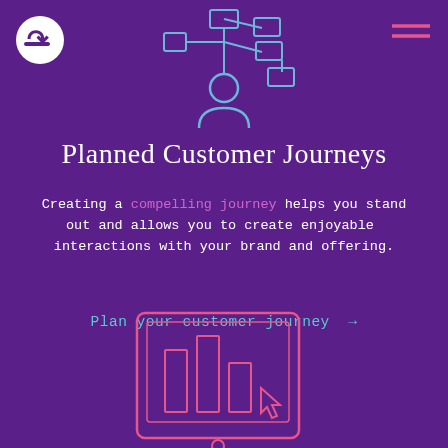[Figure (logo): White circular logo with a D and dash symbol, top left corner]
[Figure (illustration): Hamburger menu icon in pink/rose color, top right corner]
[Figure (illustration): Outline icon of a person with connected boxes/chart nodes above them, in light blue, centered at top]
Planned Customer Journeys
Creating a compelling journey helps you stand out and allows you to create enjoyable  interactions with your brand and offering.
Plan your customer journey  →
[Figure (illustration): Outline icon of a tablet/monitor showing a bar chart with a cursor arrow, in pink, centered at bottom]